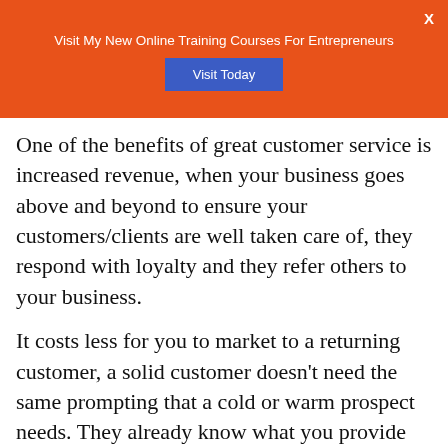Visit My New Online Training Courses For Entrepreneurs
One of the benefits of great customer service is increased revenue, when your business goes above and beyond to ensure your customers/clients are well taken care of, they respond with loyalty and they refer others to your business.
It costs less for you to market to a returning customer, a solid customer doesn't need the same prompting that a cold or warm prospect needs. They already know what you provide and they are loyal to stay a repeat customer.
When you think about your favorite brand or business, it points for the...